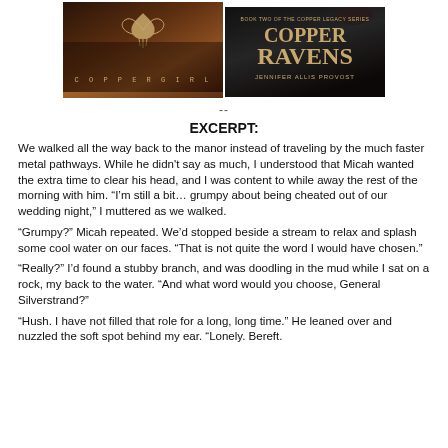[Figure (illustration): Two book covers side by side: 'Copper Girl' on the left with a dark warm-toned cover featuring a stylized bird symbol and small caps title, and 'Copper Ravens' on the right with a dark cover featuring the series name 'Book Two of the Copper Legacy Series', large bold title 'COPPER RAVENS', and author name 'Jennifer Allis Provost'.]
--
EXCERPT:
We walked all the way back to the manor instead of traveling by the much faster metal pathways. While he didn't say as much, I understood that Micah wanted the extra time to clear his head, and I was content to while away the rest of the morning with him. “I’m still a bit… grumpy about being cheated out of our wedding night,” I muttered as we walked.
“Grumpy?” Micah repeated. We’d stopped beside a stream to relax and splash some cool water on our faces. “That is not quite the word I would have chosen.”
“Really?” I’d found a stubby branch, and was doodling in the mud while I sat on a rock, my back to the water. “And what word would you choose, General Silverstrand?”
“Hush. I have not filled that role for a long, long time.” He leaned over and nuzzled the soft spot behind my ear. “Lonely. Bereft.